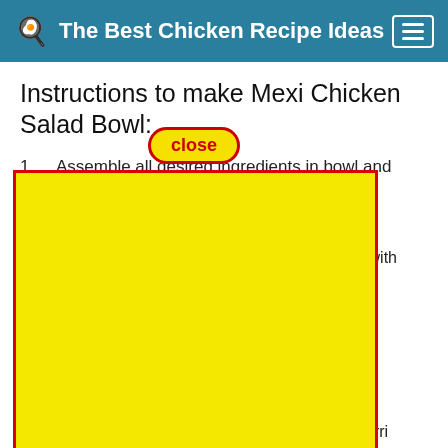🍳 The Best Chicken Recipe Ideas
Instructions to make Mexi Chicken Salad Bowl:
1. Assemble all desired ingredients in bowl and enjoy! This recipe is making 2 bowls, so divide ingredients between 2.
2.
Great ... Cook ... with Mexican ... amazing ... nacho ... chicken salad ... about leaves ... Chimichurri ... summer tomatoes, marinated and grilled chimichurri